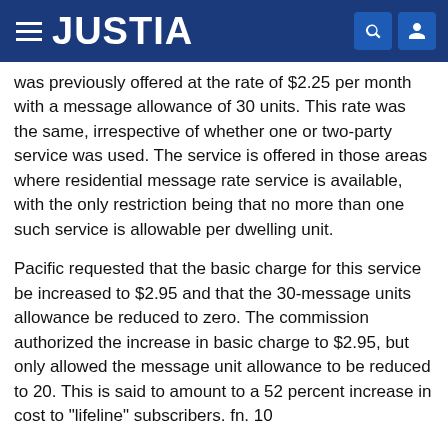JUSTIA
was previously offered at the rate of $2.25 per month with a message allowance of 30 units. This rate was the same, irrespective of whether one or two-party service was used. The service is offered in those areas where residential message rate service is available, with the only restriction being that no more than one such service is allowable per dwelling unit.
Pacific requested that the basic charge for this service be increased to $2.95 and that the 30-message units allowance be reduced to zero. The commission authorized the increase in basic charge to $2.95, but only allowed the message unit allowance to be reduced to 20. This is said to amount to a 52 percent increase in cost to "lifeline" subscribers. fn. 10
Neither Pacific nor the commission have cited us to any evidence in the record to support this extraordinary